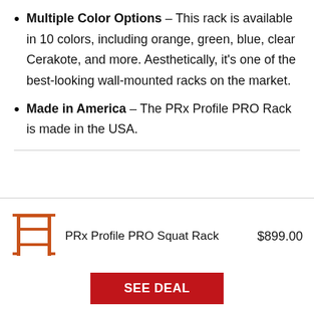Multiple Color Options – This rack is available in 10 colors, including orange, green, blue, clear Cerakote, and more. Aesthetically, it's one of the best-looking wall-mounted racks on the market.
Made in America – The PRx Profile PRO Rack is made in the USA.
[Figure (illustration): Orange line drawing icon of a PRx Profile PRO Squat Rack (wall-mounted rack with vertical posts and horizontal bars)]
PRx Profile PRO Squat Rack    $899.00
SEE DEAL